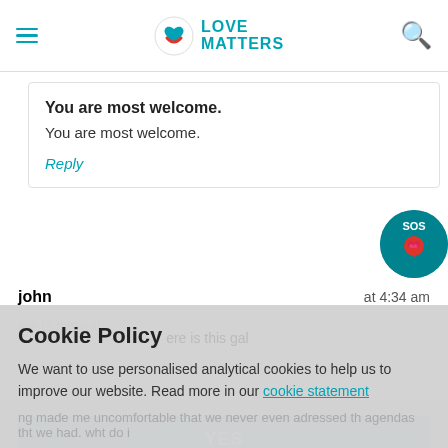Love Matters
You are most welcome.
You are most welcome.
Reply
john at 4:34 am
Cookie Policy
We want to use personalised analytical cookies to help us to improve our website. Read more in our cookie statement
YES